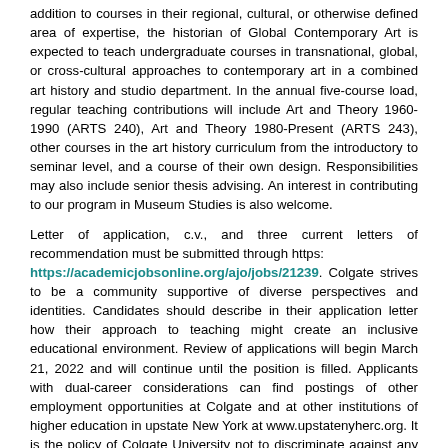addition to courses in their regional, cultural, or otherwise defined area of expertise, the historian of Global Contemporary Art is expected to teach undergraduate courses in transnational, global, or cross-cultural approaches to contemporary art in a combined art history and studio department. In the annual five-course load, regular teaching contributions will include Art and Theory 1960-1990 (ARTS 240), Art and Theory 1980-Present (ARTS 243), other courses in the art history curriculum from the introductory to seminar level, and a course of their own design. Responsibilities may also include senior thesis advising. An interest in contributing to our program in Museum Studies is also welcome.
Letter of application, c.v., and three current letters of recommendation must be submitted through https: https://academicjobsonline.org/ajo/jobs/21239. Colgate strives to be a community supportive of diverse perspectives and identities. Candidates should describe in their application letter how their approach to teaching might create an inclusive educational environment. Review of applications will begin March 21, 2022 and will continue until the position is filled. Applicants with dual-career considerations can find postings of other employment opportunities at Colgate and at other institutions of higher education in upstate New York at www.upstatenyherc.org. It is the policy of Colgate University not to discriminate against any employee or applicant for employment on the basis of their race, color, creed, religion, age, sex, pregnancy, national origin, marital status, disability, protected Veterans status, sexual orientation and gender identity and expression, genetic information, victims of domestic violence and stalking, familial status, and all other categories covered by law. Colgate University is an Equal Opportunity/Affirmative Action